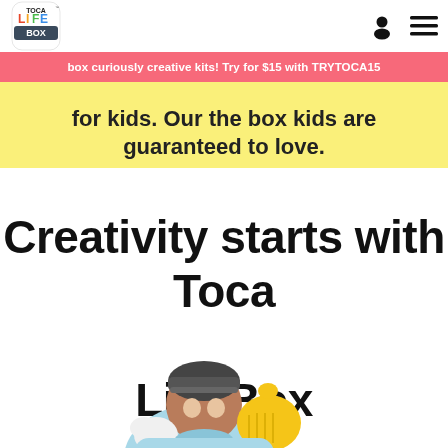Toca Life Box logo, user icon, menu icon
box curiously creative kits! Try for $15 with TRYTOCA15
for kids. Our the box kids are guaranteed to love.
Creativity starts with Toca Life Box
[Figure (illustration): Illustrated cartoon character (child) with dark skin, gray beanie hat, light blue hoodie, giving a thumbs up with yellow gloved hand, peeking from bottom of page]